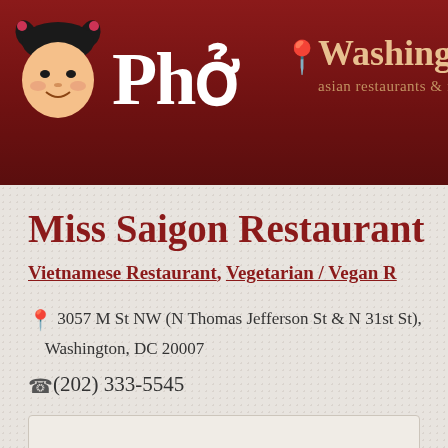Phở — Washington, D... asian restaurants & foo...
Miss Saigon Restaurant
Vietnamese Restaurant, Vegetarian / Vegan R...
3057 M St NW (N Thomas Jefferson St & N 31st St), Washington, DC 20007
(202) 333-5545